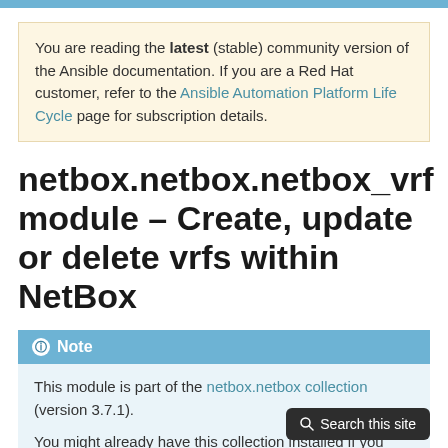You are reading the latest (stable) community version of the Ansible documentation. If you are a Red Hat customer, refer to the Ansible Automation Platform Life Cycle page for subscription details.
netbox.netbox.netbox_vrf module – Create, update or delete vrfs within NetBox
Note
This module is part of the netbox.netbox collection (version 3.7.1).
You might already have this collection installed if you